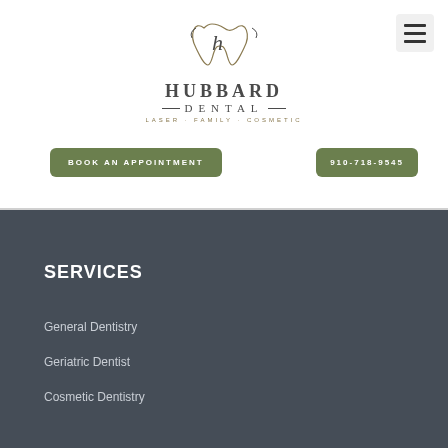[Figure (logo): Hubbard Dental logo with stylized tooth and cursive h, text reads HUBBARD DENTAL LASER · FAMILY · COSMETIC]
BOOK AN APPOINTMENT
910-718-9545
SERVICES
General Dentistry
Geriatric Dentist
Cosmetic Dentistry